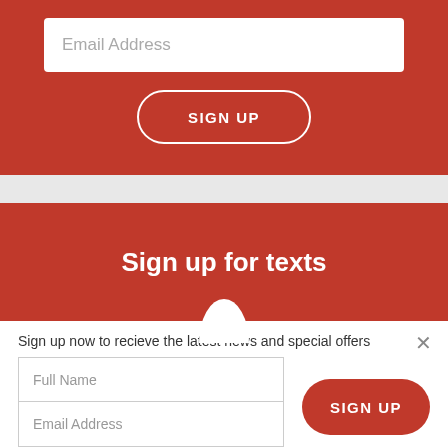Email Address
SIGN UP
Sign up for texts
Sign up now to recieve the latest news and special offers
Full Name
Email Address
SIGN UP